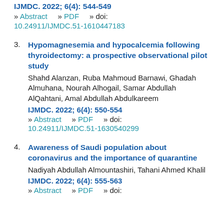IJMDC. 2022; 6(4): 544-549
» Abstract   » PDF   » doi:
10.24911/IJMDC.51-1610447183
3. Hypomagnesemia and hypocalcemia following thyroidectomy: a prospective observational pilot study
Shahd Alanzan, Ruba Mahmoud Barnawi, Ghadah Almuhana, Nourah Alhogail, Samar Abdullah AlQahtani, Amal Abdullah Abdulkareem
IJMDC. 2022; 6(4): 550-554
» Abstract   » PDF   » doi:
10.24911/IJMDC.51-1630540299
4. Awareness of Saudi population about coronavirus and the importance of quarantine
Nadiyah Abdullah Almountashiri, Tahani Ahmed Khalil
IJMDC. 2022; 6(4): 555-563
» Abstract   » PDF   » doi: